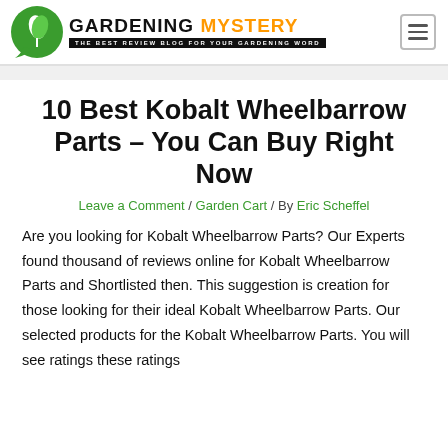GARDENING MYSTERY — THE BEST REVIEW BLOG FOR YOUR GARDENING WORD
10 Best Kobalt Wheelbarrow Parts – You Can Buy Right Now
Leave a Comment / Garden Cart / By Eric Scheffel
Are you looking for Kobalt Wheelbarrow Parts? Our Experts found thousand of reviews online for Kobalt Wheelbarrow Parts and Shortlisted then. This suggestion is creation for those looking for their ideal Kobalt Wheelbarrow Parts. Our selected products for the Kobalt Wheelbarrow Parts. You will see ratings these ratings